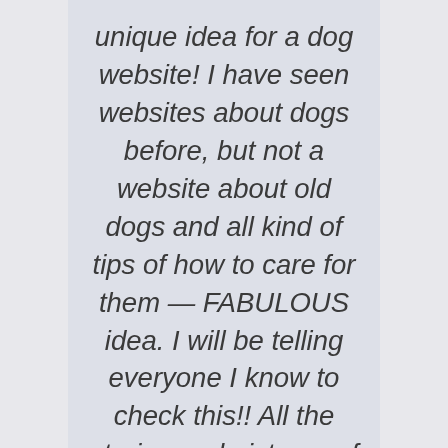unique idea for a dog website! I have seen websites about dogs before, but not a website about old dogs and all kind of tips of how to care for them — FABULOUS idea. I will be telling everyone I know to check this!! All the stories and pictures of the old dogs put me back in time to when my Golden Labrador Retriever was alive and put a big smile on